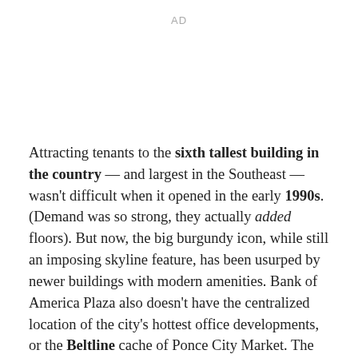AD
Attracting tenants to the sixth tallest building in the country — and largest in the Southeast — wasn't difficult when it opened in the early 1990s. (Demand was so strong, they actually added floors). But now, the big burgundy icon, while still an imposing skyline feature, has been usurped by newer buildings with modern amenities. Bank of America Plaza also doesn't have the centralized location of the city's hottest office developments, or the Beltline cache of Ponce City Market. The video seeks to highlight flexible floor plans...